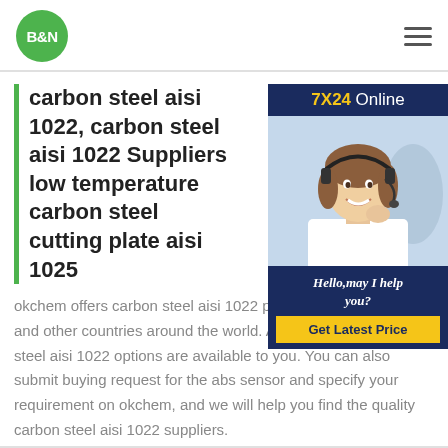B&N
carbon steel aisi 1022, carbon steel aisi 1022 Suppliers low temperature carbon steel cutting plate aisi 1025
okchem offers carbon steel aisi 1022 products from China and other countries around the world. A variety of carbon steel aisi 1022 options are available to you. You can also submit buying request for the abs sensor and specify your requirement on okchem, and we will help you find the quality carbon steel aisi 1022 suppliers.
[Figure (photo): Customer service representative wearing a headset, smiling. Overlay widget with '7X24 Online' header, 'Hello,may I help you?' text in italic, and a yellow 'Get Latest Price' button on dark navy background.]